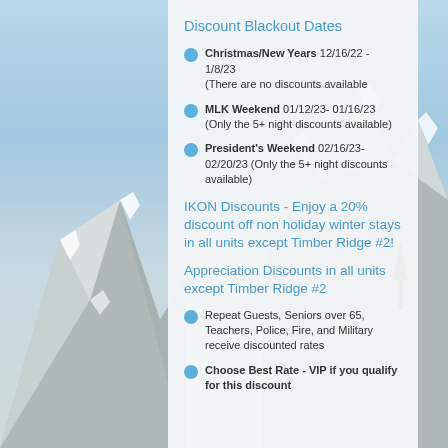Discount Blackout Dates
Christmas/New Years 12/16/22 - 1/8/23 (There are no discounts available
MLK Weekend 01/12/23- 01/16/23 (Only the 5+ night discounts available)
President's Weekend 02/16/23- 02/20/23 (Only the 5+ night discounts available)
IKON Discounts - Enjoy a 20% discount off non holiday winter stays in all units except Timber Ridge #2!
Appreciation Discounts in all units except Timber Ridge #2
Repeat Guests, Seniors over 65, Teachers, Police, Fire, and Military receive discounted rates
Choose Best Rate - VIP if you qualify for this discount